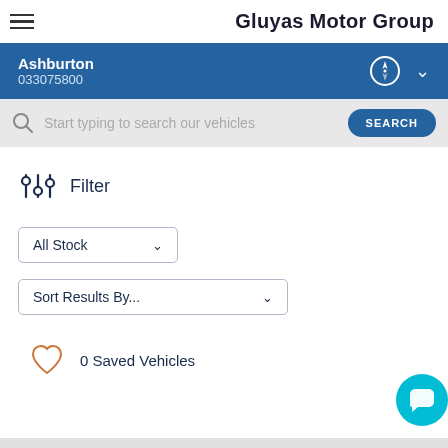Gluyas Motor Group
Ashburton
033075800
Start typing to search our vehicles
Filter
All Stock
Sort Results By...
0 Saved Vehicles